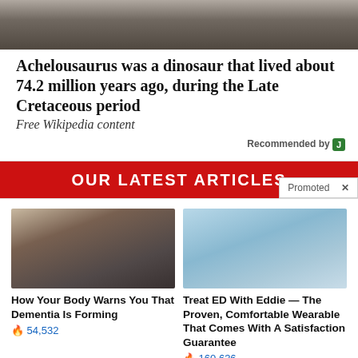[Figure (photo): Top portion of a dinosaur fossil or sculpture, partially visible, gray tones]
Achelousaurus was a dinosaur that lived about 74.2 million years ago, during the Late Cretaceous period
Free Wikipedia content
Recommended by J
OUR LATEST ARTICLES
Promoted X
[Figure (photo): Person sitting on edge of bed looking downward, dementia article illustration]
[Figure (photo): Light blue wearable ring/device product photo for Eddie ED treatment]
How Your Body Warns You That Dementia Is Forming
🔥 54,532
Treat ED With Eddie — The Proven, Comfortable Wearable That Comes With A Satisfaction Guarantee
🔥 160,636